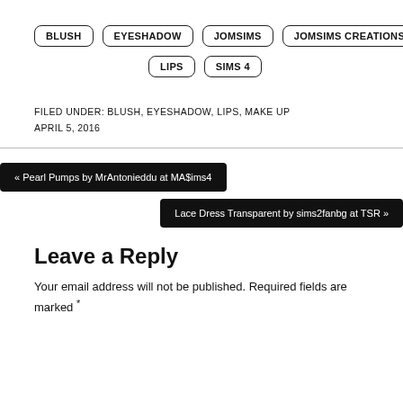BLUSH
EYESHADOW
JOMSIMS
JOMSIMS CREATIONS
LIPS
SIMS 4
FILED UNDER: BLUSH, EYESHADOW, LIPS, MAKE UP
APRIL 5, 2016
« Pearl Pumps by MrAntonieddu at MA$ims4
Lace Dress Transparent by sims2fanbg at TSR »
Leave a Reply
Your email address will not be published. Required fields are marked *